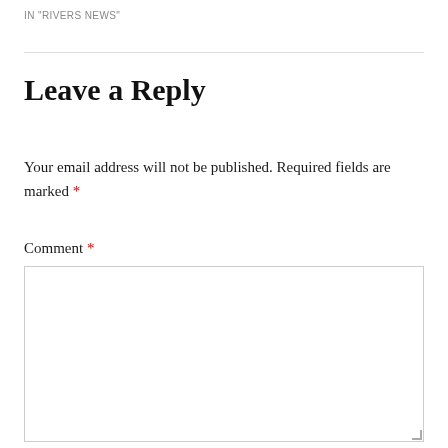IN "RIVERS NEWS"
Leave a Reply
Your email address will not be published. Required fields are marked *
Comment *